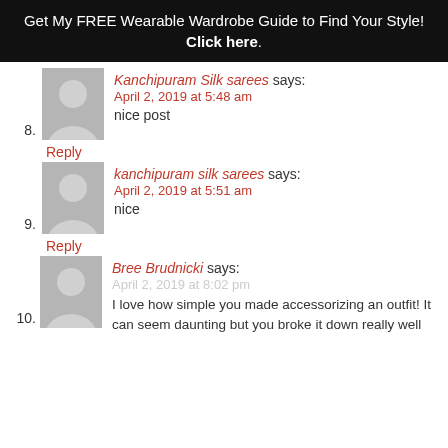Get My FREE Wearable Wardrobe Guide to Find Your Style! Click here.
8. Kanchipuram Silk sarees says: April 2, 2019 at 5:48 am
nice post
Reply
9. kanchipuram silk sarees says: April 2, 2019 at 5:51 am
nice
Reply
10. Bree Brudnicki says: April 2, 2019 at 8:02 pm
I love how simple you made accessorizing an outfit! It can seem daunting but you broke it down really well